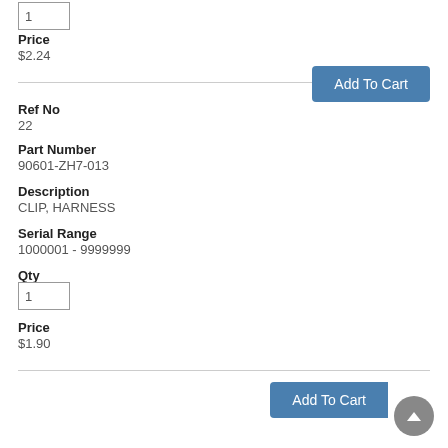Qty input: 1
Price
$2.24
[Figure (screenshot): Add To Cart button (blue)]
Ref No
22
Part Number
90601-ZH7-013
Description
CLIP, HARNESS
Serial Range
1000001 - 9999999
Qty
Price
$1.90
[Figure (screenshot): Add To Cart button (blue)]